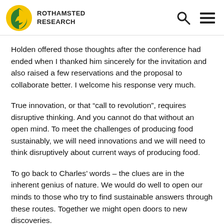ROTHAMSTED RESEARCH
Holden offered those thoughts after the conference had ended when I thanked him sincerely for the invitation and also raised a few reservations and the proposal to collaborate better. I welcome his response very much.
True innovation, or that “call to revolution”, requires disruptive thinking. And you cannot do that without an open mind. To meet the challenges of producing food sustainably, we will need innovations and we will need to think disruptively about current ways of producing food.
To go back to Charles’ words – the clues are in the inherent genius of nature. We would do well to open our minds to those who try to find sustainable answers through these routes. Together we might open doors to new discoveries.